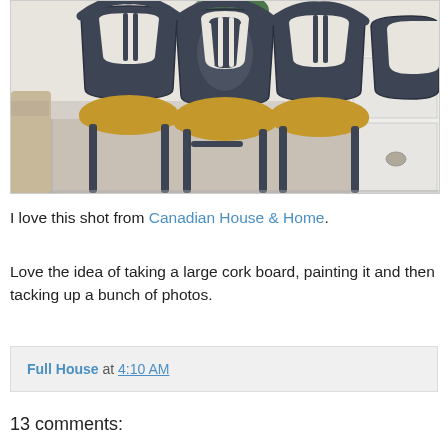[Figure (photo): Photo of dark navy/charcoal dining chairs with mustard yellow seat cushions around a light gray dining table, with white cabinetry and green plant in background]
I love this shot from Canadian House & Home.
Love the idea of taking a large cork board, painting it and then tacking up a bunch of photos.
Full House at 4:10 AM
13 comments: